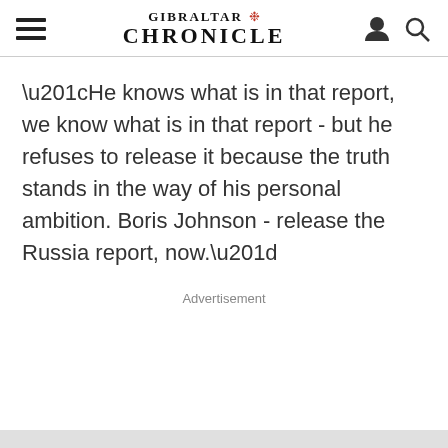GIBRALTAR CHRONICLE
“He knows what is in that report, we know what is in that report - but he refuses to release it because the truth stands in the way of his personal ambition. Boris Johnson - release the Russia report, now.”
Advertisement